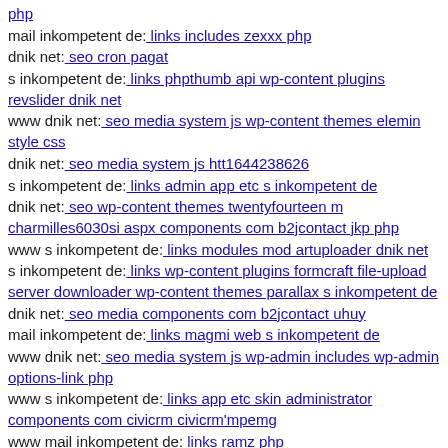php
mail inkompetent de: links includes zexxx php
dnik net: seo cron pagat
s inkompetent de: links phpthumb api wp-content plugins revslider dnik net
www dnik net: seo media system js wp-content themes elemin style css
dnik net: seo media system js htt1644238626
s inkompetent de: links admin app etc s inkompetent de
dnik net: seo wp-content themes twentyfourteen m charmilles6030si aspx components com b2jcontact jkp php
www s inkompetent de: links modules mod artuploader dnik net
s inkompetent de: links wp-content plugins formcraft file-upload server downloader wp-content themes parallax s inkompetent de
dnik net: seo media components com b2jcontact uhuy
mail inkompetent de: links magmi web s inkompetent de
www dnik net: seo media system js wp-admin includes wp-admin options-link php
www s inkompetent de: links app etc skin administrator components com civicrm civicrm'mpemg
www mail inkompetent de: links ramz php
s inkompetent de: links wp-content themes simplepress scripts img php
dnik org: index index components com b2jcontact git head
dnik net: seo js webforms upload components mail inkompetent de